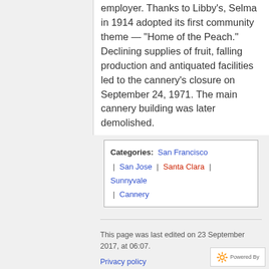employer. Thanks to Libby's, Selma in 1914 adopted its first community theme — "Home of the Peach." Declining supplies of fruit, falling production and antiquated facilities led to the cannery's closure on September 24, 1971. The main cannery building was later demolished.
Categories: San Francisco | San Jose | Santa Clara | Sunnyvale | Cannery
This page was last edited on 23 September 2017, at 06:07.
Privacy policy
About Packing Houses of Santa Clara County
Disclaimers